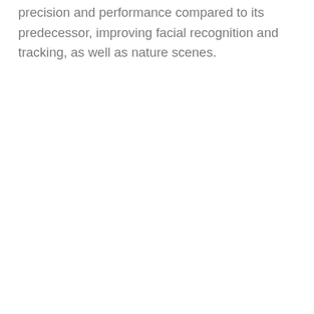precision and performance compared to its predecessor, improving facial recognition and tracking, as well as nature scenes.